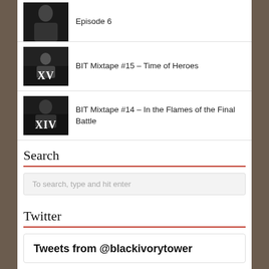Episode 6
BIT Mixtape #15 – Time of Heroes
BIT Mixtape #14 – In the Flames of the Final Battle
Search
To search, type and hit enter
Twitter
Tweets from @blackivorytower